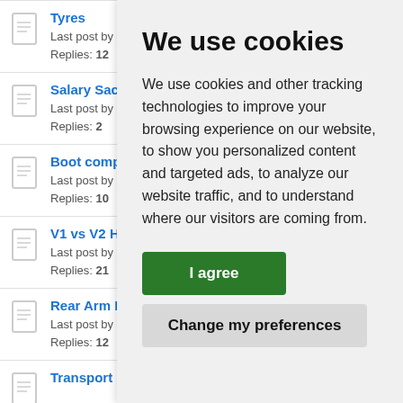Tyres
Last post by
Replies: 12
Salary Sacr
Last post by
Replies: 2
Boot comp
Last post by
Replies: 10
V1 vs V2 He
Last post by
Replies: 21
Rear Arm R
Last post by
Replies: 12
Transport
We use cookies
We use cookies and other tracking technologies to improve your browsing experience on our website, to show you personalized content and targeted ads, to analyze our website traffic, and to understand where our visitors are coming from.
I agree
Change my preferences